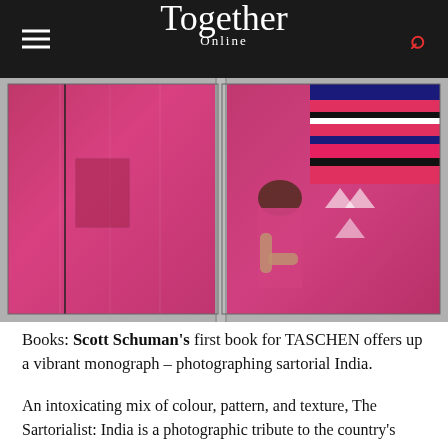Together Online
[Figure (photo): Two fashion photography spreads from a book showing Indian sartorial style — left image shows close-up of a magenta/pink sari fabric, right image shows a woman in pink/magenta clothing seated among colorful striped and patterned textiles.]
Books: Scott Schuman's first book for TASCHEN offers up a vibrant monograph – photographing sartorial India.
An intoxicating mix of colour, pattern, and texture, The Sartorialist: India is a photographic tribute to the country's diversity and splendour. Famed American photographer and blogger Scott Schuman journeyed to India many times to capture its dizzying, evocative beauty, the streets, t…